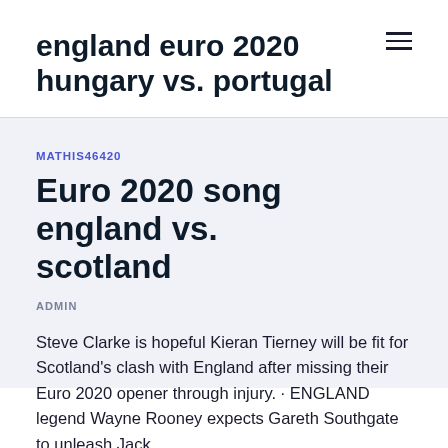england euro 2020 hungary vs. portugal
MATHIS46420
Euro 2020 song england vs. scotland
ADMIN
Steve Clarke is hopeful Kieran Tierney will be fit for Scotland's clash with England after missing their Euro 2020 opener through injury. · ENGLAND legend Wayne Rooney expects Gareth Southgate to unleash Jack